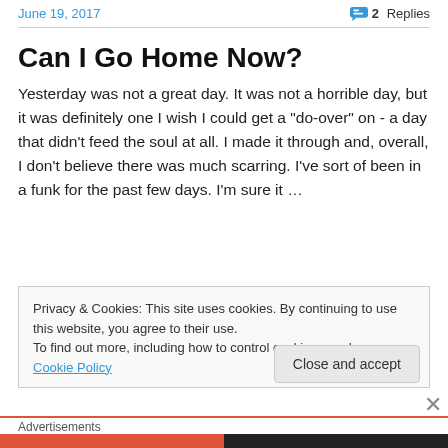June 19, 2017
2 Replies
Can I Go Home Now?
Yesterday was not a great day. It was not a horrible day, but it was definitely one I wish I could get a "do-over" on - a day that didn't feed the soul at all. I made it through and, overall, I don't believe there was much scarring. I've sort of been in a funk for the past few days. I'm sure it …
Privacy & Cookies: This site uses cookies. By continuing to use this website, you agree to their use.
To find out more, including how to control cookies, see here: Cookie Policy
Close and accept
Advertisements